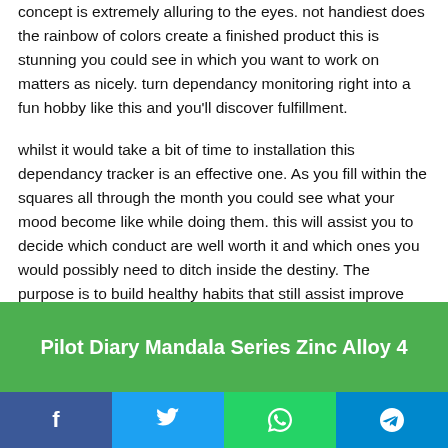concept is extremely alluring to the eyes. not handiest does the rainbow of colors create a finished product this is stunning you could see in which you want to work on matters as nicely. turn dependancy monitoring right into a fun hobby like this and you'll discover fulfillment.
whilst it would take a bit of time to installation this dependancy tracker is an effective one. As you fill within the squares all through the month you could see what your mood become like while doing them. this will assist you to decide which conduct are well worth it and which ones you would possibly need to ditch inside the destiny. The purpose is to build healthy habits that still assist improve your temper and well being.
Pilot Diary Mandala Series Zinc Alloy 4